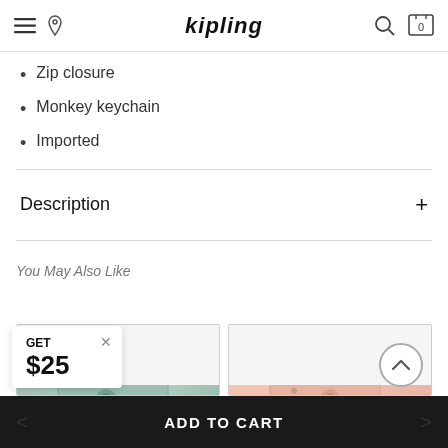kipling
Three internal compartments
One internal zip pocket
Zip closure
Monkey keychain
Imported
Description
You May Also Like
[Figure (photo): Mint/teal colored Kipling pouch with monkey keychain charm]
[Figure (photo): Pink/blush colored Kipling pouch with monkey keychain charm]
GET $25